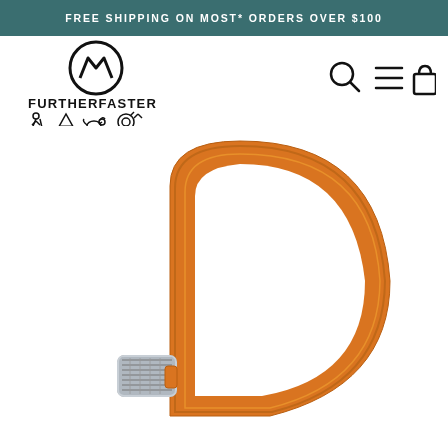FREE SHIPPING ON MOST* ORDERS OVER $100
[Figure (logo): FurtherFaster logo with mountain icon and activity icons (hiking, camping, dog, cycling)]
[Figure (photo): Orange carabiner with screw-lock gate, close-up product photo on white background]